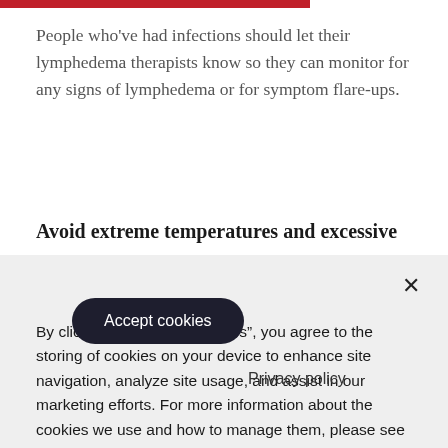People who've had infections should let their lymphedema therapists know so they can monitor for any signs of lymphedema or for symptom flare-ups.
Avoid extreme temperatures and excessive
By clicking “Accept All Cookies”, you agree to the storing of cookies on your device to enhance site navigation, analyze site usage, and assist in our marketing efforts. For more information about the cookies we use and how to manage them, please see our Cookie Notice.
Accept cookies
Privacy policy